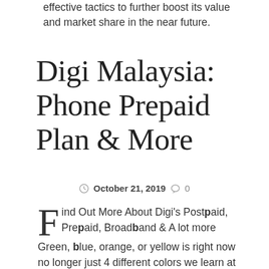effective tactics to further boost its value and market share in the near future.
Digi Malaysia: Phone Prepaid Plan & More
October 21, 2019  0
Find Out More About Digi's Postpaid, Prepaid, Broadband & A lot more
Green, blue, orange, or yellow is right now no longer just 4 different colors we learn at school. Within the telecom sector, every one of these colors represents a handful of the top players in